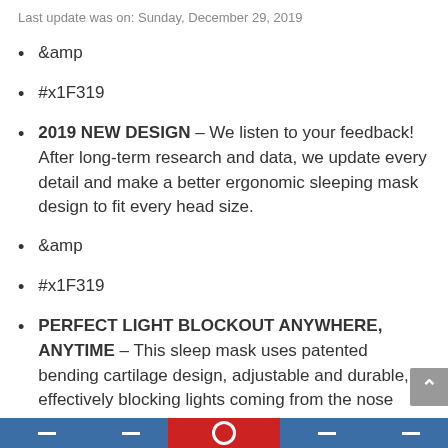Last update was on: Sunday, December 29, 2019
&amp
#x1F319
2019 NEW DESIGN – We listen to your feedback! After long-term research and data, we update every detail and make a better ergonomic sleeping mask design to fit every head size.
&amp
#x1F319
PERFECT LIGHT BLOCKOUT ANYWHERE, ANYTIME – This sleep mask uses patented bending cartilage design, adjustable and durable, effectively blocking lights coming from the nose area. You can get sound sleep or nap everywhere!